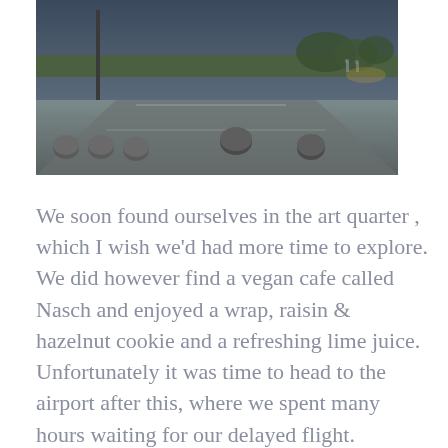[Figure (photo): An outdoor plaza or public square at dusk/evening. The scene shows a wide paved area with round stone bollards, a road or pathway, trees and grass in the background, and distant figures. Streetlights or ambient light give a blue-grey tone.]
We soon found ourselves in the art quarter , which I wish we'd had more time to explore. We did however find a vegan cafe called Nasch and enjoyed a wrap, raisin & hazelnut cookie and a refreshing lime juice. Unfortunately it was time to head to the airport after this, where we spent many hours waiting for our delayed flight. Eventually we made it made it home ready for work again Monday morning.